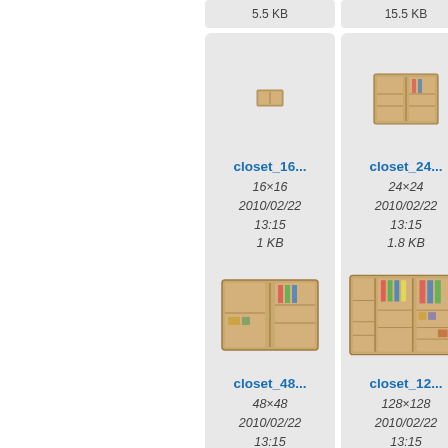[Figure (screenshot): Top partial strip showing two file thumbnails with sizes 5.5 KB and 15.5 KB (cropped)]
[Figure (screenshot): Thumbnail card for closet_16 icon file: 16x16, 2010/02/22 13:15, 1 KB]
[Figure (screenshot): Thumbnail card for closet_24 icon file: 24x24, 2010/02/22 13:15, 1.8 KB]
[Figure (screenshot): Partial thumbnail card cropped on right edge]
[Figure (screenshot): Thumbnail card for closet_48 icon file: 48x48, 2010/02/22 13:15, 5.1 KB]
[Figure (screenshot): Thumbnail card for closet_12 (128) icon file: 128x128, 2010/02/22 13:15, 21.9 KB]
[Figure (screenshot): Partial thumbnail card cropped on right edge (bottom row)]